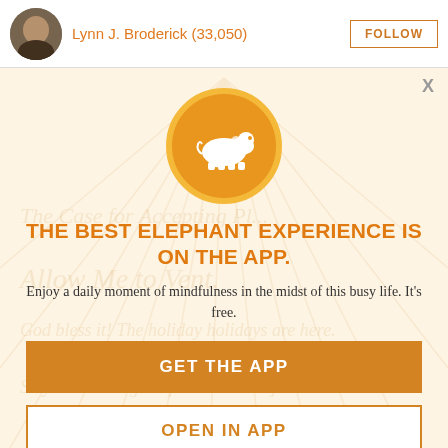Lynn J. Broderick (33,050)
FOLLOW
[Figure (illustration): App promotion modal overlay with light beige/cream background with faint radiating lines and ghosted text watermarks. Contains an orange circle with white elephant icon at top, bold orange title, description text, and two call-to-action buttons.]
THE BEST ELEPHANT EXPERIENCE IS ON THE APP.
Enjoy a daily moment of mindfulness in the midst of this busy life. It's free.
GET THE APP
OPEN IN APP